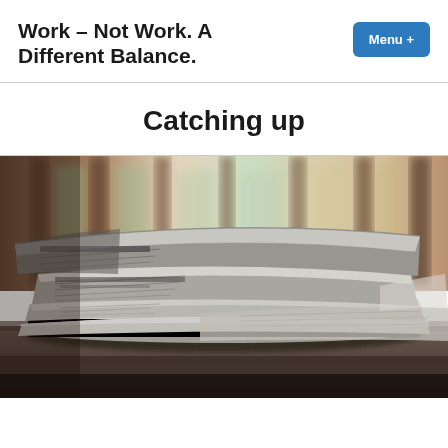Work – Not Work. A Different Balance.
Catching up
[Figure (photo): A stack of folded newspapers piled on a table, with a blurred wooden background with windows. The newspapers are stacked in multiple layers with their fold edges visible.]